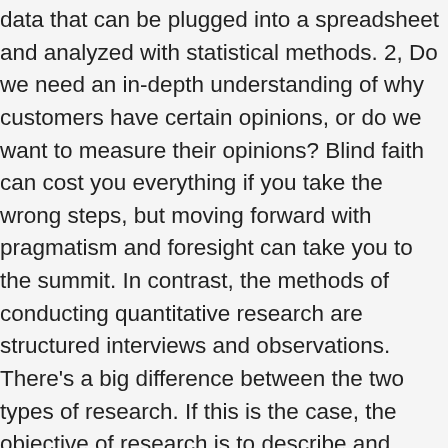data that can be plugged into a spreadsheet and analyzed with statistical methods. 2, Do we need an in-depth understanding of why customers have certain opinions, or do we want to measure their opinions? Blind faith can cost you everything if you take the wrong steps, but moving forward with pragmatism and foresight can take you to the summit. In contrast, the methods of conducting quantitative research are structured interviews and observations. There’s a big difference between the two types of research. If this is the case, the objective of research is to describe and explain reality and thus be able to predict. As an example, a set of eight criteria was developed to identify high quality evidence in the public health … quantitative research , 1. Moreover, it can be utilized for further innovation and development of products. Using business research methods allow you, as a business owner, a potential start-up operator or even a would-be investor to make smart choices before real money is on the line. There are many ways to conduct qualitative market